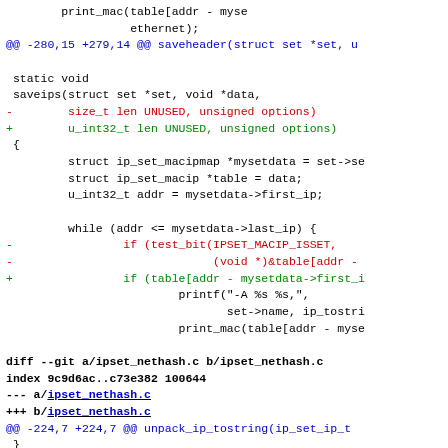Code diff showing changes to ipset_macipmap and ipset_nethash.c files, including function signature changes replacing size_t with u_int32_t and test_bit with table array access.